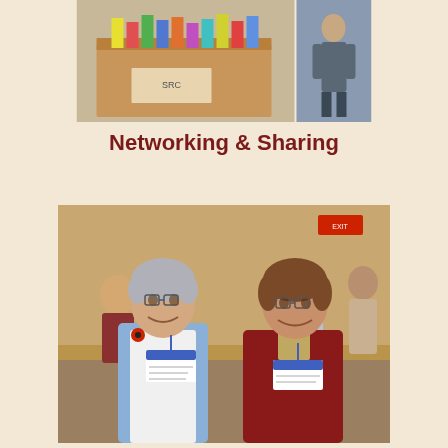[Figure (photo): Two photos side by side at top: left shows a cardboard box with colorful file folders/papers inside; right shows a person standing outdoors]
Networking & Sharing
[Figure (photo): Group of people socializing in a hall/community room; two women in foreground, one in blue vest with red pin and name badge, another in dark red jacket with name badge, smiling at camera; more people visible in background]